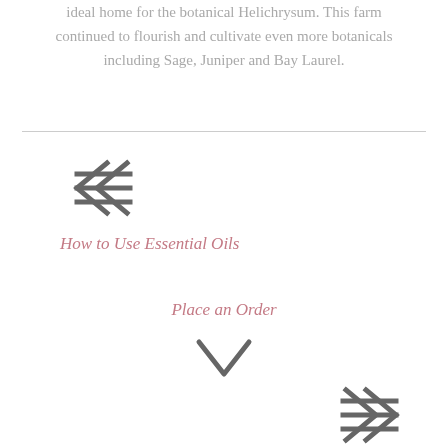ideal home for the botanical Helichrysum. This farm continued to flourish and cultivate even more botanicals including Sage, Juniper and Bay Laurel.
[Figure (illustration): Double left-pointing arrow icon in dark gray, decorative navigation element]
How to Use Essential Oils
Place an Order
[Figure (illustration): Downward-pointing chevron/check arrow icon in dark gray, decorative navigation element]
[Figure (illustration): Double right-pointing arrow icon in dark gray, decorative navigation element]